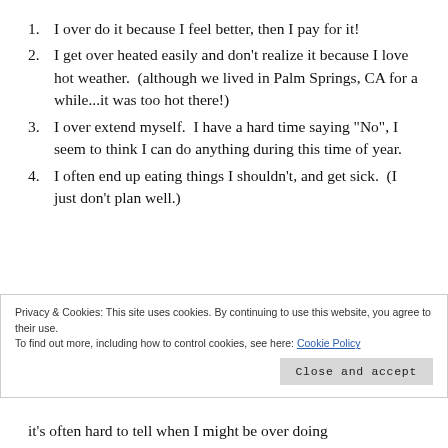I over do it because I feel better, then I pay for it!
I get over heated easily and don’t realize it because I love hot weather.  (although we lived in Palm Springs, CA for a while...it was too hot there!)
I over extend myself.  I have a hard time saying “No”, I seem to think I can do anything during this time of year.
I often end up eating things I shouldn’t, and get sick.  (I just don’t plan well.)
Privacy & Cookies: This site uses cookies. By continuing to use this website, you agree to their use.
To find out more, including how to control cookies, see here: Cookie Policy
it’s often hard to tell when I might be over doing